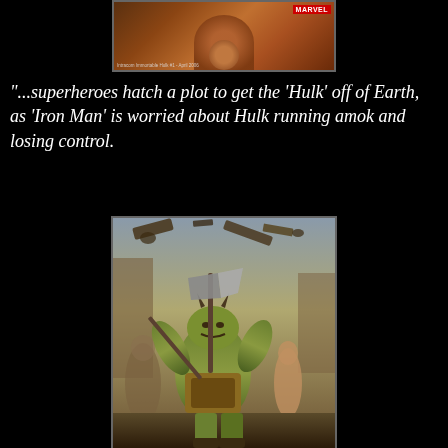[Figure (illustration): Top portion of a Marvel comic book cover showing a close-up figure, partially visible, with Marvel logo in corner. Text reads 'Intrcom Immortable Hulk #1 - April 2006']
"...superheroes hatch a plot to get the 'Hulk' off of Earth, as 'Iron Man' is worried about Hulk running amok and losing control.
[Figure (illustration): Marvel comic book cover art showing a green alien-like warrior character holding weapons including a large axe, with battle scenes in the background, rubble and debris in the sky, and female character visible behind the main figure.]